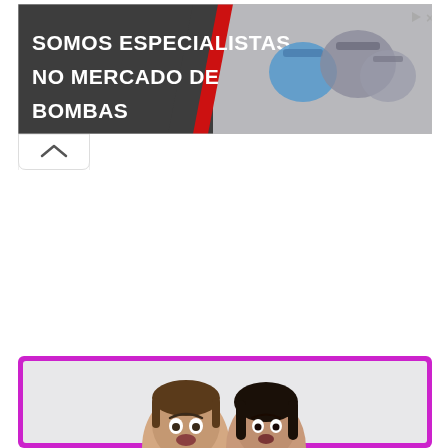[Figure (illustration): Advertisement banner with dark gray background on the left showing text 'SOMOS ESPECIALISTAS NO MERCADO DE BOMBAS' in white bold text with a red diagonal accent, and industrial pump machinery images on the right gray area. Top-right corner has play and close icons.]
[Figure (other): A small white collapse/minimize tab with an upward chevron arrow, positioned below the advertisement banner on the left side.]
[Figure (photo): Bottom advertisement banner with a thick magenta/purple border on a light gray background, showing the tops of two people's heads (a man and a woman with surprised expressions) at the bottom edge of the frame.]